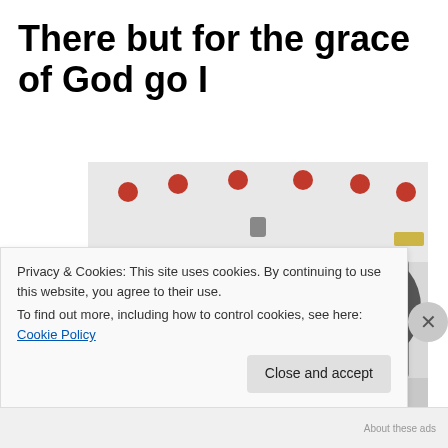There but for the grace of God go I
[Figure (photo): Photograph of the back of a white bus or vehicle. A large advertisement panel is visible showing text 'UN AMI DANS LA RUE DEPUIS 20 ANS' with 'www.danslarue.org' and a black-and-white portrait of an elderly man. Red circular lights are visible along the back of the vehicle.]
Privacy & Cookies: This site uses cookies. By continuing to use this website, you agree to their use.
To find out more, including how to control cookies, see here: Cookie Policy
Close and accept